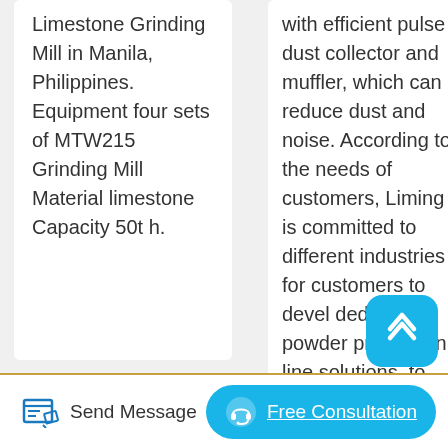Limestone Grinding Mill in Manila, Philippines. Equipment four sets of MTW215 Grinding Mill Material limestone Capacity 50t h.
with efficient pulse dust collector and muffler, which can reduce dust and noise. According to the needs of customers, Liming is committed to different industries for customers to devel… dedicated powder production line solutions, to give.
Send Message
Free Consultation